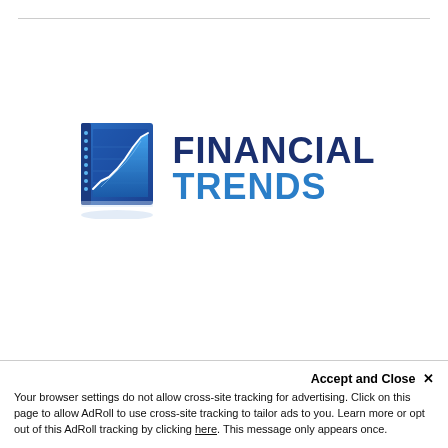[Figure (logo): Financial Trends logo: blue 3D chart graphic on the left with an upward-trending line chart, beside bold dark-blue text 'FINANCIAL' and bright-blue text 'TRENDS']
Accept and Close ✕
Your browser settings do not allow cross-site tracking for advertising. Click on this page to allow AdRoll to use cross-site tracking to tailor ads to you. Learn more or opt out of this AdRoll tracking by clicking here. This message only appears once.